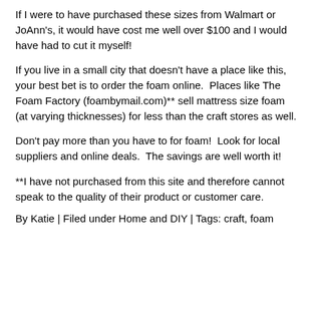If I were to have purchased these sizes from Walmart or JoAnn's, it would have cost me well over $100 and I would have had to cut it myself!
If you live in a small city that doesn't have a place like this, your best bet is to order the foam online.  Places like The Foam Factory (foambymail.com)** sell mattress size foam (at varying thicknesses) for less than the craft stores as well.
Don't pay more than you have to for foam!  Look for local suppliers and online deals.  The savings are well worth it!
**I have not purchased from this site and therefore cannot speak to the quality of their product or customer care.
By Katie | Filed under Home and DIY | Tags: craft, foam